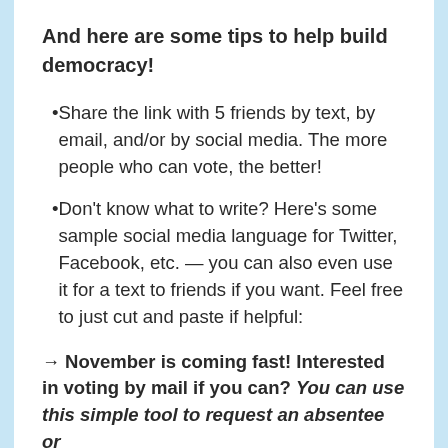And here are some tips to help build democracy!
Share the link with 5 friends by text, by email, and/or by social media. The more people who can vote, the better!
Don't know what to write? Here's some sample social media language for Twitter, Facebook, etc. — you can also even use it for a text to friends if you want. Feel free to just cut and paste if helpful:
→ November is coming fast! Interested in voting by mail if you can? You can use this simple tool to request an absentee or